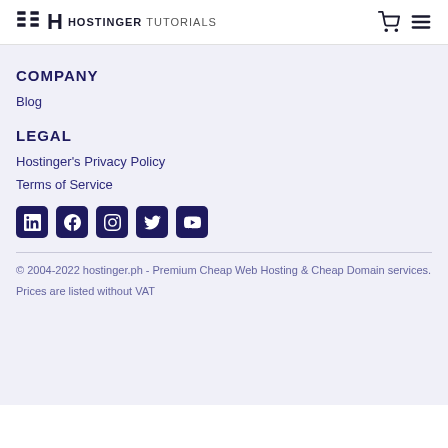HOSTINGER TUTORIALS
COMPANY
Blog
LEGAL
Hostinger's Privacy Policy
Terms of Service
[Figure (other): Social media icons: LinkedIn, Facebook, Instagram, Twitter, YouTube]
© 2004-2022 hostinger.ph - Premium Cheap Web Hosting & Cheap Domain services.
Prices are listed without VAT